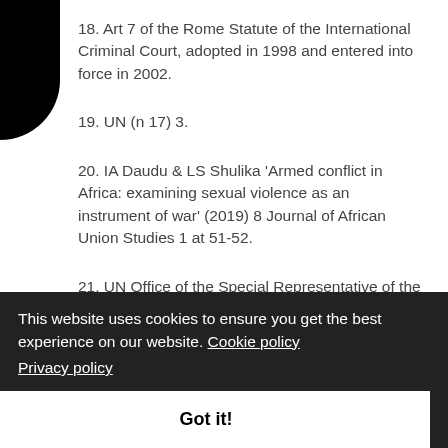18. Art 7 of the Rome Statute of the International Criminal Court, adopted in 1998 and entered into force in 2002.
19. UN (n 17) 3.
20. IA Daudu & LS Shulika 'Armed conflict in Africa: examining sexual violence as an instrument of war' (2019) 8 Journal of African Union Studies 1 at 51-52.
21. UN Office of the Special Representative of the Secretary-General on Sexual Violence in Conflict
This website uses cookies to ensure you get the best experience on our website. Cookie policy
Privacy policy
Got it!